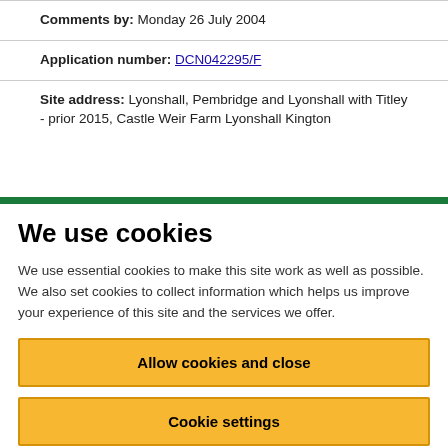Comments by: Monday 26 July 2004
Application number: DCN042295/F
Site address: Lyonshall, Pembridge and Lyonshall with Titley - prior 2015, Castle Weir Farm Lyonshall Kington
We use cookies
We use essential cookies to make this site work as well as possible. We also set cookies to collect information which helps us improve your experience of this site and the services we offer.
Allow cookies and close
Cookie settings